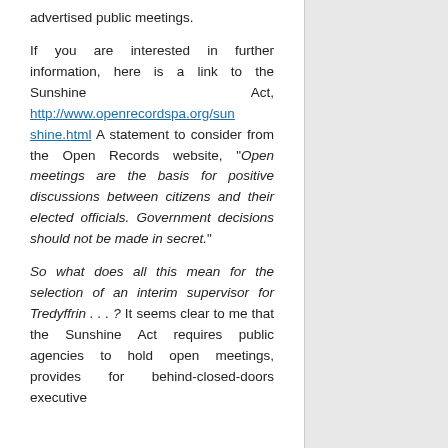advertised public meetings.
If you are interested in further information, here is a link to the Sunshine Act, http://www.openrecordspa.org/sunshine.html A statement to consider from the Open Records website, “Open meetings are the basis for positive discussions between citizens and their elected officials. Government decisions should not be made in secret.”
So what does all this mean for the selection of an interim supervisor for Tredyffrin . . . ? It seems clear to me that the Sunshine Act requires public agencies to hold open meetings, provides for behind-closed-doors executive